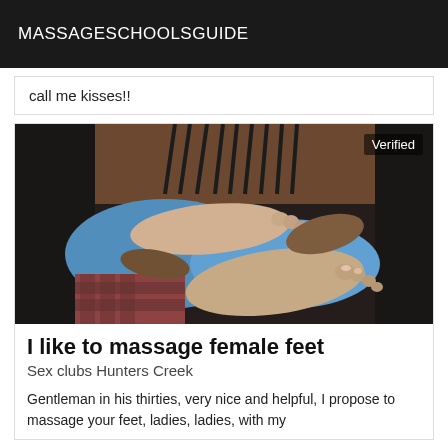MASSAGESCHOOLSGUIDE
call me kisses!!
[Figure (photo): Close-up photograph of bare feet being massaged, with blue towels or cushions visible underneath, dark background. A 'Verified' badge appears in the top-right corner of the image.]
I like to massage female feet
Sex clubs Hunters Creek
Gentleman in his thirties, very nice and helpful, I propose to massage your feet, ladies, ladies, with my